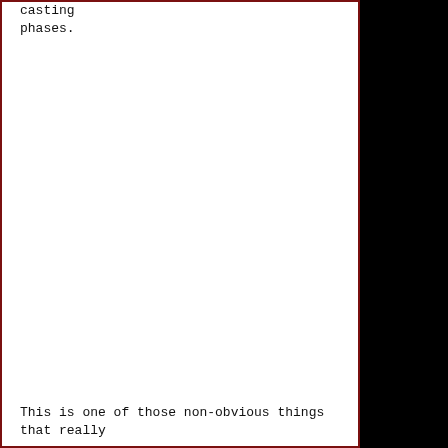casting phases.
This is one of those non-obvious things that really